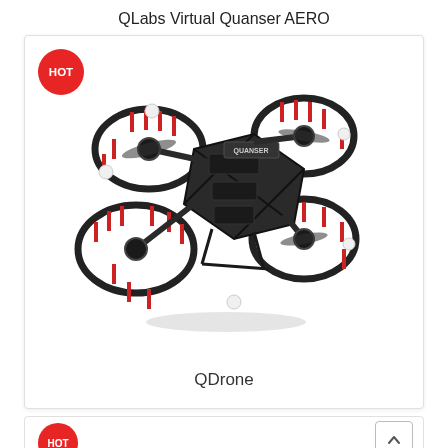QLabs Virtual Quanser AERO
[Figure (photo): Quanser AERO drone — a carbon fiber quadrotor frame with red accent struts, propeller guards, and white motion-capture balls at the frame tips. The drone is shown from a slight overhead angle. A red HOT badge is displayed in the upper-left corner of the product card.]
QDrone
[Figure (photo): Partial view of a second product card below, also tagged with a red HOT badge. A scroll-to-top button (chevron up) is visible in the bottom-right corner.]